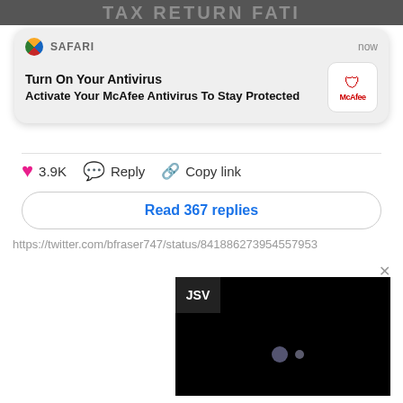[Figure (screenshot): Top banner with large bold text partially visible, dark background]
[Figure (screenshot): Safari browser notification card showing McAfee antivirus prompt: 'Turn On Your Antivirus - Activate Your McAfee Antivirus To Stay Protected', with timestamp 'now' and McAfee logo]
[Figure (screenshot): Twitter/X interaction row with heart (3.9K), Reply, and Copy link buttons, and a 'Read 367 replies' button]
https://twitter.com/bfraser747/status/841886273954557953
[Figure (screenshot): Video player area showing black screen with JSV label and two dots visible, close X button]